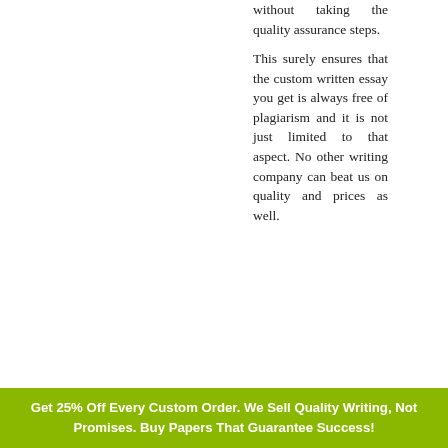without taking the quality assurance steps.
This surely ensures that the custom written essay you get is always free of plagiarism and it is not just limited to that aspect. No other writing company can beat us on quality and prices as well.
Get 25% Off Every Custom Order. We Sell Quality Writing, Not Promises. Buy Papers That Guarantee Success!